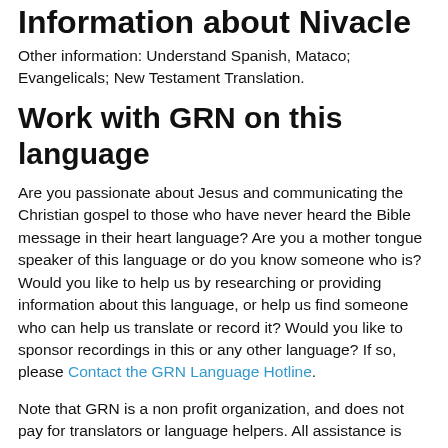Information about Nivacle
Other information: Understand Spanish, Mataco; Evangelicals; New Testament Translation.
Work with GRN on this language
Are you passionate about Jesus and communicating the Christian gospel to those who have never heard the Bible message in their heart language? Are you a mother tongue speaker of this language or do you know someone who is? Would you like to help us by researching or providing information about this language, or help us find someone who can help us translate or record it? Would you like to sponsor recordings in this or any other language? If so, please Contact the GRN Language Hotline.
Note that GRN is a non profit organization, and does not pay for translators or language helpers. All assistance is given voluntarily.